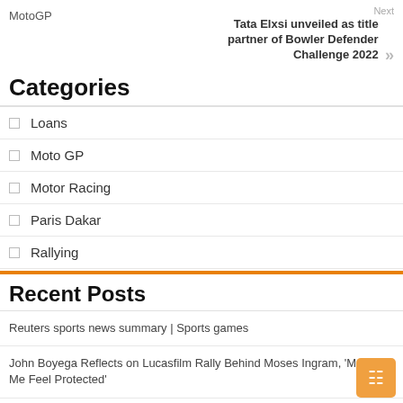MotoGP
Next
Tata Elxsi unveiled as title partner of Bowler Defender Challenge 2022
Categories
Loans
Moto GP
Motor Racing
Paris Dakar
Rallying
Recent Posts
Reuters sports news summary | Sports games
John Boyega Reflects on Lucasfilm Rally Behind Moses Ingram, 'Makes Me Feel Protected'